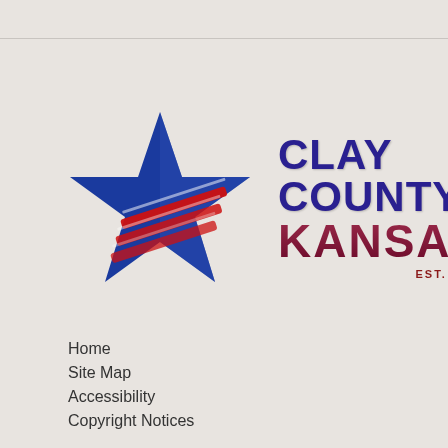[Figure (logo): Clay County Kansas logo with blue and red star and three red chevron stripes, with text 'Clay County Kansas Est. 1866']
Home
Site Map
Accessibility
Copyright Notices
Government Websites by CivicPlus®